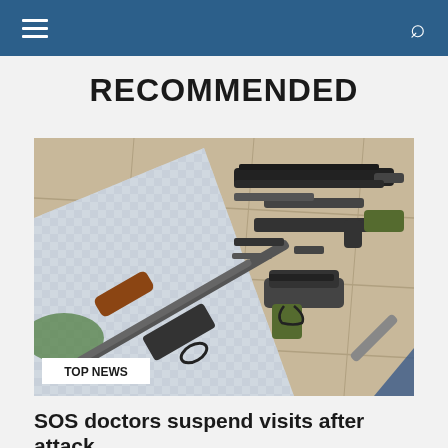≡  🔍
RECOMMENDED
[Figure (photo): Disassembled firearms and weapons including a shotgun with brown grip, rifle parts, and a handgun laid out on a patterned cloth on a stone surface. A white label reading TOP NEWS appears at the bottom left.]
SOS doctors suspend visits after attack